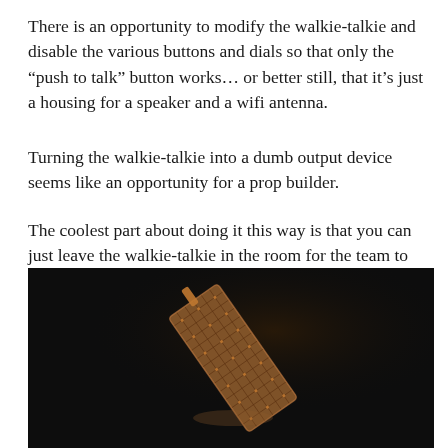There is an opportunity to modify the walkie-talkie and disable the various buttons and dials so that only the “push to talk” button works… or better still, that it’s just a housing for a speaker and a wifi antenna.
Turning the walkie-talkie into a dumb output device seems like an opportunity for a prop builder.
The coolest part about doing it this way is that you can just leave the walkie-talkie in the room for the team to find. They can pick it up and push whatever button they want and it will just work. Anytime you can remove interface explanation from the experience, you’re improving upon it.
[Figure (photo): Dark background photo of a walkie-talkie or electronic device tilted at an angle, with a mesh/grid pattern visible on its surface, illuminated from below against a very dark background.]